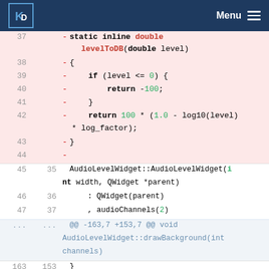KDE Menu
[Figure (screenshot): Code diff screenshot showing removed lines (pink background) for a static inline double levelToDB function, and normal lines for AudioLevelWidget constructor and drawBackground hunk header]
37  - static inline double levelToDB(double level)
38  - {
39  -     if (level <= 0) {
40  -         return -100;
41  -     }
42  -     return 100 * (1.0 - log10(level) * log_factor);
43  - }
44  -
45 35    AudioLevelWidget::AudioLevelWidget(int width, QWidget *parent)
46 36      : QWidget(parent)
47 37      , audioChannels(2)
... ...   @@ -163,7 +153,7 @@ void AudioLevelWidget::drawBackground(int channels)
163 153    }
164 154
165 155    // cppcheck-suppress unusedFunction